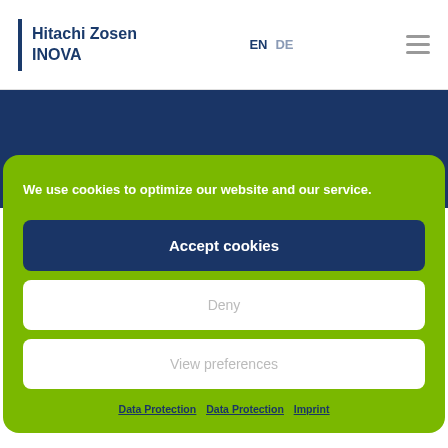[Figure (logo): Hitachi Zosen INOVA logo with dark blue vertical bar and bold text]
EN  DE
[Figure (other): Hamburger menu icon (three horizontal lines)]
[Figure (other): Dark navy blue background band]
We use cookies to optimize our website and our service.
Accept cookies
Deny
View preferences
Data Protection  Data Protection  Imprint